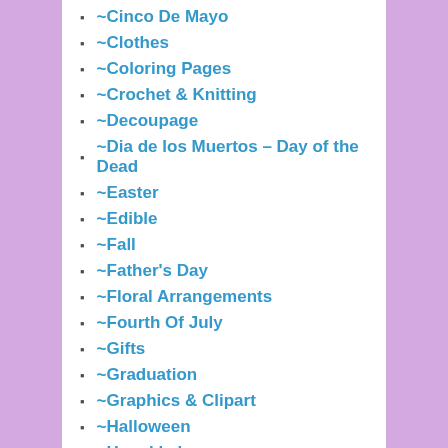~Cinco De Mayo
~Clothes
~Coloring Pages
~Crochet & Knitting
~Decoupage
~Dia de los Muertos – Day of the Dead
~Easter
~Edible
~Fall
~Father's Day
~Floral Arrangements
~Fourth Of July
~Gifts
~Graduation
~Graphics & Clipart
~Halloween
~Hanukkah
~Home
~Kwanzaa
~Memorial Day
~Mother's Day
~New Years